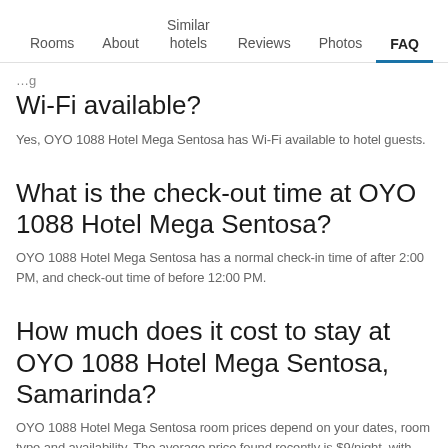Rooms | About | Similar hotels | Reviews | Photos | FAQ
Wi-Fi available?
Yes, OYO 1088 Hotel Mega Sentosa has Wi-Fi available to hotel guests.
What is the check-out time at OYO 1088 Hotel Mega Sentosa?
OYO 1088 Hotel Mega Sentosa has a normal check-in time of after 2:00 PM, and check-out time of before 12:00 PM.
How much does it cost to stay at OYO 1088 Hotel Mega Sentosa, Samarinda?
OYO 1088 Hotel Mega Sentosa room prices depend on your dates, room type and availability. The average price found recently is $9/night, with the best deals starting from $6/night. To see current deals, enter your dates.